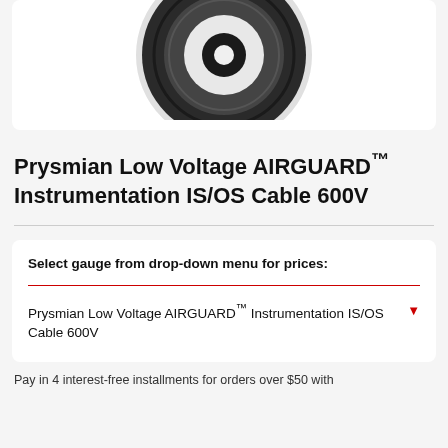[Figure (photo): Partial view of a cable reel/spool product image, showing the bottom portion of a black and white cable spool against white background]
Prysmian Low Voltage AIRGUARD™ Instrumentation IS/OS Cable 600V
Select gauge from drop-down menu for prices:
Prysmian Low Voltage AIRGUARD™ Instrumentation IS/OS Cable 600V
Pay in 4 interest-free installments for orders over $50 with